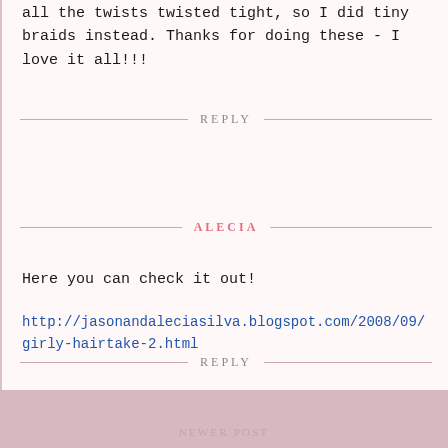all the twists twisted tight, so I did tiny braids instead. Thanks for doing these - I love it all!!!
REPLY
ALECIA
Here you can check it out!
http://jasonandaleciasilva.blogspot.com/2008/09/girly-hairtake-2.html
REPLY